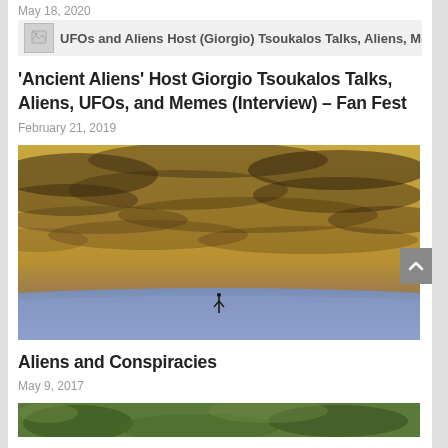May 18, 2020
[Figure (screenshot): Blurred/ghost link row showing a broken image icon and overlapping text: 'UFOs and Aliens Host (Giorgio) Tsoukalos Talks, Aliens, Memes (Interview) – Fan Fest']
'Ancient Aliens' Host Giorgio Tsoukalos Talks, Aliens, UFOs, and Memes (Interview) – Fan Fest
February 21, 2019
[Figure (photo): Aerial/space photograph showing Earth's horizon with dramatic cloudy sky and a tiny silhouette figure at the bottom, warm golden-brown tones]
Aliens and Conspiracies
May 9, 2017
[Figure (photo): Partial image at bottom of page, showing green vegetation/foliage, partially cut off]